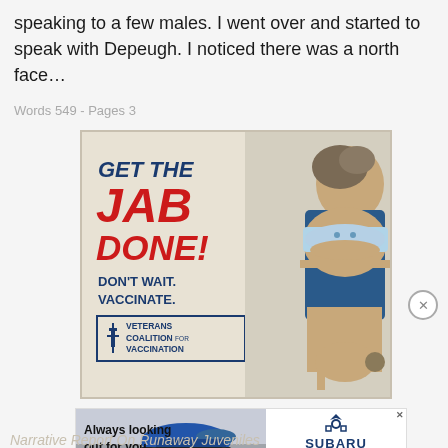speaking to a few males. I went over and started to speak with Depeugh. I noticed there was a north face…
Words 549 - Pages 3
[Figure (illustration): Advertisement: GET THE JAB DONE! DON'T WAIT. VACCINATE. Veterans Coalition for Vaccination. Shows a masked man flexing his arm with a bandage.]
[Figure (illustration): Subaru advertisement: Always looking out for you. Shows a blue Subaru car on a road with the Subaru logo and an Explore button.]
Narrative Report On Runaway Juveniles